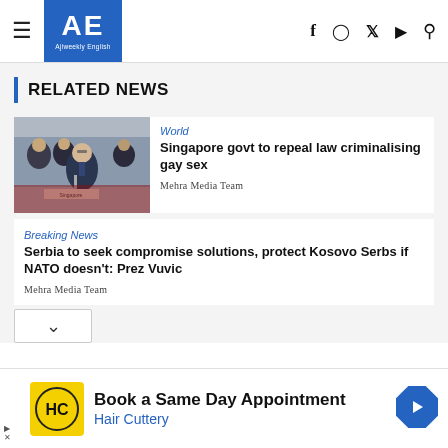AE Ajiweekly English — navigation with Facebook, Instagram, Twitter, YouTube, Search icons
RELATED NEWS
[Figure (photo): Photo of a man in suit speaking at a podium with 'Singapore' nameplate]
World
Singapore govt to repeal law criminalising gay sex
Mehra Media Team
Breaking News
Serbia to seek compromise solutions, protect Kosovo Serbs if NATO doesn't: Prez Vuvic
Mehra Media Team
Book a Same Day Appointment Hair Cuttery